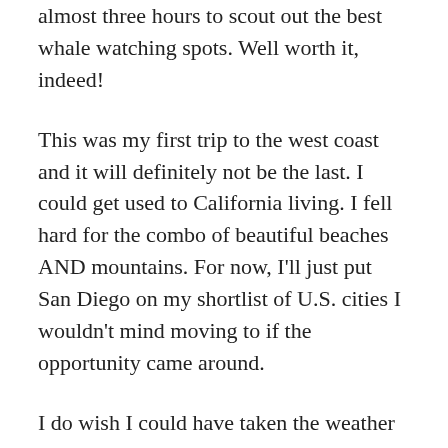almost three hours to scout out the best whale watching spots. Well worth it, indeed!
This was my first trip to the west coast and it will definitely not be the last. I could get used to California living. I fell hard for the combo of beautiful beaches AND mountains. For now, I’ll just put San Diego on my shortlist of U.S. cities I wouldn’t mind moving to if the opportunity came around.
I do wish I could have taken the weather back with me. Chicago hasn’t quite gotten the message that spring is just around the corner.